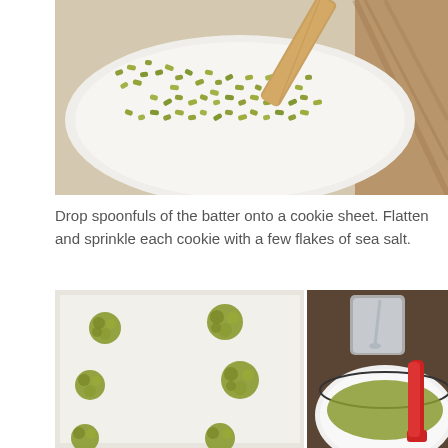[Figure (photo): Overhead view of chopped pistachios on a white plate with a wooden spatula]
Drop spoonfuls of the batter onto a cookie sheet.  Flatten and sprinkle each cookie with a few flakes of sea salt.
[Figure (photo): Left: cookie sheet with parchment paper showing pistachio cookie dough drops. Right: a glass jar with spoon and a white bowl with pistachio batter and a red spatula.]